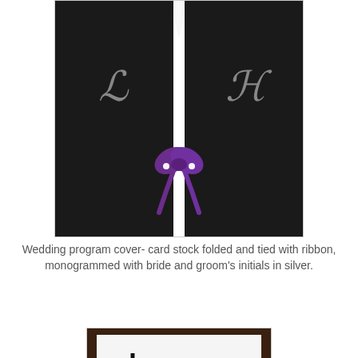[Figure (photo): Wedding program cover made of black card stock folded with rounded top edges showing initials 'L' and 'A' in silver script, tied together with a purple ribbon bow at the center, with small white pearl accents, against a white background.]
Wedding program cover- card stock folded and tied with ribbon, monogrammed with bride and groom's initials in silver.
[Figure (photo): Partial view of a framed item showing the word 'robyn' in bold black text with smaller text visible, set against a white background in a dark wooden frame.]